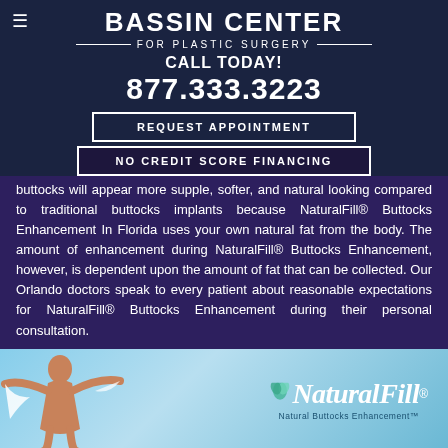BASSIN CENTER FOR PLASTIC SURGERY
CALL TODAY! 877.333.3223
REQUEST APPOINTMENT
NO CREDIT SCORE FINANCING
buttocks will appear more supple, softer, and natural looking compared to traditional buttocks implants because NaturalFill® Buttocks Enhancement In Florida uses your own natural fat from the body. The amount of enhancement during NaturalFill® Buttocks Enhancement, however, is dependent upon the amount of fat that can be collected. Our Orlando doctors speak to every patient about reasonable expectations for NaturalFill® Buttocks Enhancement during their personal consultation.
[Figure (photo): NaturalFill Natural Buttocks Enhancement advertisement image showing a woman with arms outstretched against a blue sky background, with the NaturalFill logo and tagline 'Natural Buttocks Enhancement']